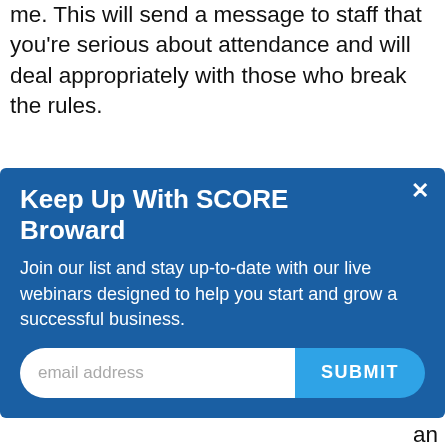me. This will send a message to staff that you're serious about attendance and will deal appropriately with those who break the rules.
Review your policy periodically and update it as necessary. When you make changes, redistribute and
[Figure (screenshot): Modal popup for 'Keep Up With SCORE Broward' with title, descriptive text, email input field, and SUBMIT button on a blue background with a close (x) button.]
an
yee
Absenteeism and What You Can Do About Them.
This free, on-demand webinar presents other ways you can improve attendance, and in turn, increase productivity and engagement.